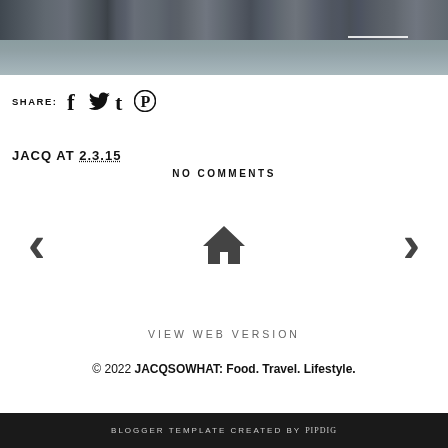[Figure (photo): Cityscape skyline with buildings and waterfront, viewed from across the water]
SHARE: f t t ⊕
JACQ AT 2.3.15
NO COMMENTS
< 🏠 >
VIEW WEB VERSION
© 2022 JACQSOWHAT: Food. Travel. Lifestyle.
BLOGGER TEMPLATE CREATED BY pipdig